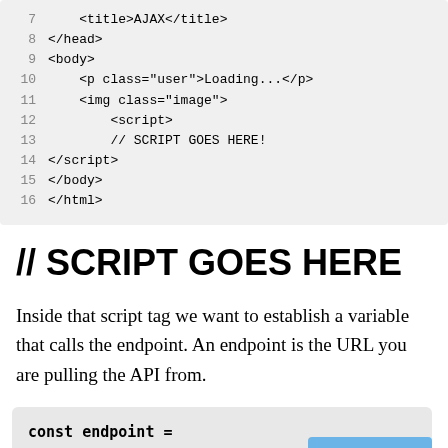[Figure (screenshot): Code block showing lines 7-16 of HTML file with AJAX title, head, body, p, img, script tags]
// SCRIPT GOES HERE
Inside that script tag we want to establish a variable that calls the endpoint. An endpoint is the URL you are pulling the API from.
[Figure (screenshot): Code block showing: const endpoint = 'https://api.github.com/user with a Free Course button overlay]